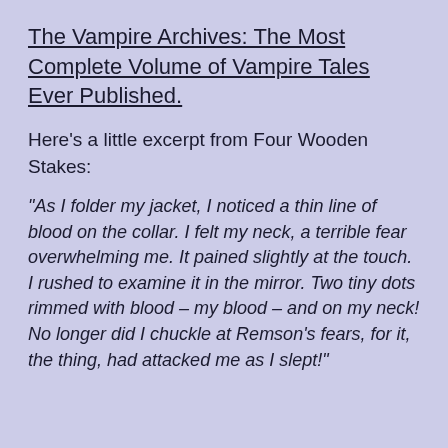The Vampire Archives: The Most Complete Volume of Vampire Tales Ever Published.
Here's a little excerpt from Four Wooden Stakes:
“As I folder my jacket, I noticed a thin line of blood on the collar. I felt my neck, a terrible fear overwhelming me. It pained slightly at the touch. I rushed to examine it in the mirror. Two tiny dots rimmed with blood – my blood – and on my neck! No longer did I chuckle at Remson’s fears, for it, the thing, had attacked me as I slept!”